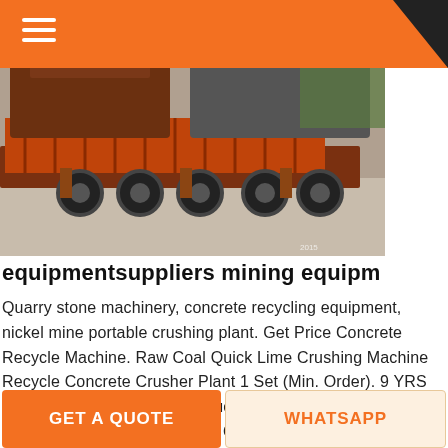[Figure (photo): Industrial mining/crushing equipment on a flatbed trailer truck, photographed outdoors. Heavy orange/red metal machinery visible.]
equipmentsuppliers mining equipm
Quarry stone machinery, concrete recycling equipment, nickel mine portable crushing plant. Get Price Concrete Recycle Machine. Raw Coal Quick Lime Crushing Machine Recycle Concrete Crusher Plant 1 Set (Min. Order). 9 YRS Zhengzhou Zhenheng Construction Equipment Co., Ltd. % . Recycling Concrete Plant Iron Ore Mining Machine For Sale. Get ...
GET PRICE
GET A QUOTE
WHATSAPP